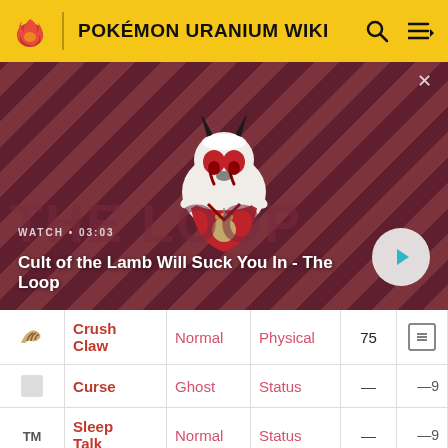POKÉMON URANIUM WIKI
[Figure (screenshot): Video thumbnail showing Cult of the Lamb character on a diagonal stripe background with play button. Label: WATCH • 03:03, Title: Cult of the Lamb Will Suck You In - The Loop]
| Icon | Move | Type | Category | Power |  |
| --- | --- | --- | --- | --- | --- |
| [crush claw icon] | Crush Claw | Normal | Physical | 75 |  |
| [blank] | Curse | Ghost | Status | — | —9 |
| TM | Sleep Talk | Normal | Status | — | —9 |